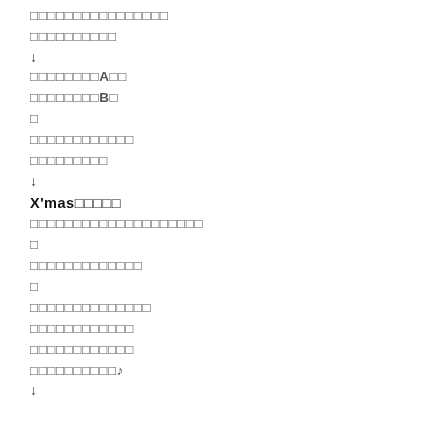□□□□□□□□□□□□□□□□
□□□□□□□□□□
↓
□□□□□□□□A□□
□□□□□□□□B□
□
□□□□□□□□□□□□
□□□□□□□□□
↓
X'mas□□□□□
□□□□□□□□□□□□□□□□□□□□
□
□□□□□□□□□□□□□
□
□□□□□□□□□□□□□□
□□□□□□□□□□□□
□□□□□□□□□□□□
□□□□□□□□□□♪
↓